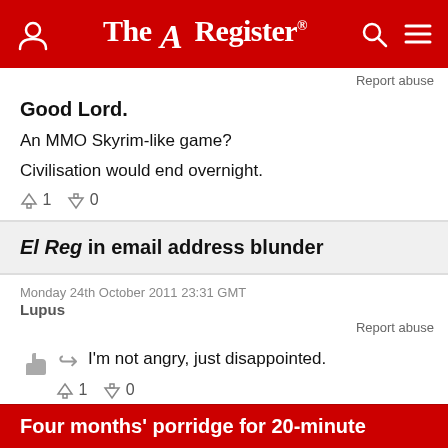The Register
Report abuse
Good Lord.
An MMO Skyrim-like game?
Civilisation would end overnight.
↑1  ↓0
El Reg in email address blunder
Monday 24th October 2011 23:31 GMT
Lupus
Report abuse
I'm not angry, just disappointed.
↑1  ↓0
Four months' porridge for 20-minute